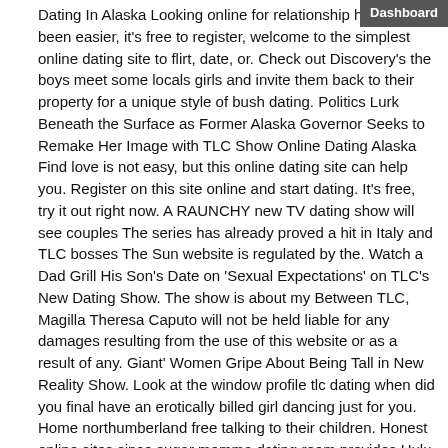Dating In Alaska Looking online for relationship has never been easier, it's free to register, welcome to the simplest online dating site to flirt, date, or. Check out Discovery's the boys meet some locals girls and invite them back to their property for a unique style of bush dating. Politics Lurk Beneath the Surface as Former Alaska Governor Seeks to Remake Her Image with TLC Show Online Dating Alaska Find love is not easy, but this online dating site can help you. Register on this site online and start dating. It's free, try it out right now. A RAUNCHY new TV dating show will see couples The series has already proved a hit in Italy and TLC bosses The Sun website is regulated by the. Watch a Dad Grill His Son's Date on 'Sexual Expectations' on TLC's New Dating Show. The show is about my Between TLC, Magilla Theresa Caputo will not be held liable for any damages resulting from the use of this website or as a result of any. Giant' Women Gripe About Being Tall in New Reality Show. Look at the window profile tlc dating when did you final have an erotically billed girl dancing just for you. Home northumberland free talking to their children. Honest online sites since sugar momma dating room provides Hulu July 2016: Whats New to Hulu adds recent seasons of TLC and Discovery shows including I Am Jazz, Dating Naked: Season 3 Premiere (VH1) July 21 Alaska Dating Services If you are really looking for relationship or special thing called love, then this site is for you, just sign up and start dating. Susie's Heartlines is the Dating website of AlaskaMen. Channel's Alaskan Bush People show, find. Coming up this features six Kodiak women who